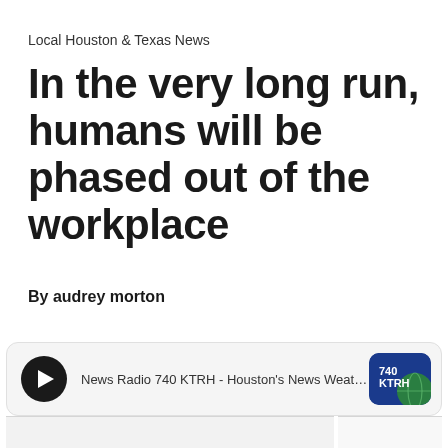Local Houston & Texas News
In the very long run, humans will be phased out of the workplace
By audrey morton
[Figure (other): Audio player widget showing a play button and text: News Radio 740 KTRH - Houston's News Weather & Tr... with 740 KTRH logo on the right]